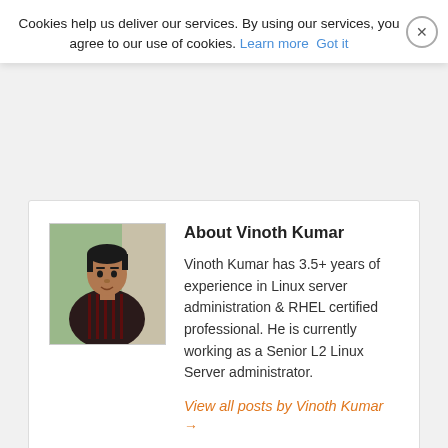Cookies help us deliver our services. By using our services, you agree to our use of cookies. Learn more  Got it
[Figure (photo): Portrait photo of Vinoth Kumar, a young man in a dark plaid shirt standing outdoors near a tree]
About Vinoth Kumar
Vinoth Kumar has 3.5+ years of experience in Linux server administration & RHEL certified professional. He is currently working as a Senior L2 Linux Server administrator.
View all posts by Vinoth Kumar →